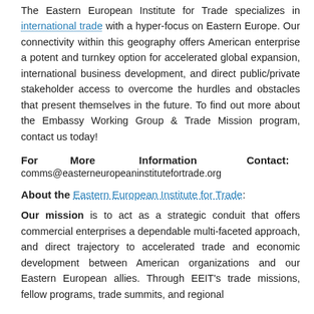The Eastern European Institute for Trade specializes in international trade with a hyper-focus on Eastern Europe. Our connectivity within this geography offers American enterprise a potent and turnkey option for accelerated global expansion, international business development, and direct public/private stakeholder access to overcome the hurdles and obstacles that present themselves in the future. To find out more about the Embassy Working Group & Trade Mission program, contact us today!
For More Information Contact:
comms@easterneuropeaninstitutefortrade.org
About the Eastern European Institute for Trade:
Our mission is to act as a strategic conduit that offers commercial enterprises a dependable multi-faceted approach, and direct trajectory to accelerated trade and economic development between American organizations and our Eastern European allies. Through EEIT's trade missions, fellow programs, trade summits, and regional